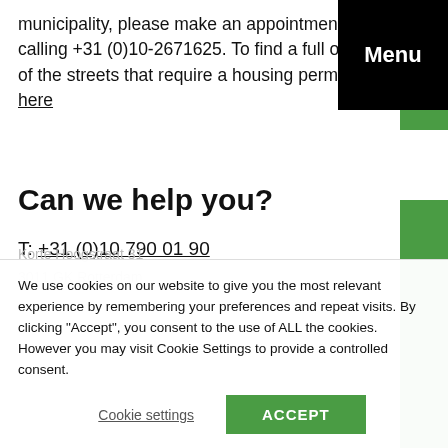municipality, please make an appointment calling +31 (0)10-2671625. To find a full overview of the streets that require a housing permit here
Menu
Can we help you?
T: +31 (0)10 790 01 90
Korte Hoogstraat 31
3011 GK Rotterdam
We use cookies on our website to give you the most relevant experience by remembering your preferences and repeat visits. By clicking “Accept”, you consent to the use of ALL the cookies. However you may visit Cookie Settings to provide a controlled consent.